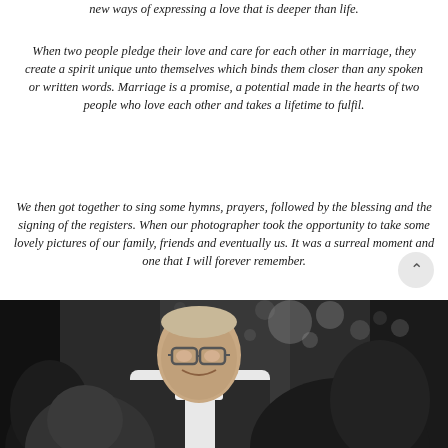new ways of expressing a love that is deeper than life.
When two people pledge their love and care for each other in marriage, they create a spirit unique unto themselves which binds them closer than any spoken or written words. Marriage is a promise, a potential made in the hearts of two people who love each other and takes a lifetime to fulfil.
We then got together to sing some hymns, prayers, followed by the blessing and the signing of the registers. When our photographer took the opportunity to take some lovely pictures of our family, friends and eventually us. It was a surreal moment and one that I will forever remember.
[Figure (photo): Black and white photograph of a man wearing glasses and clerical collar smiling, with another person partially visible in the foreground]